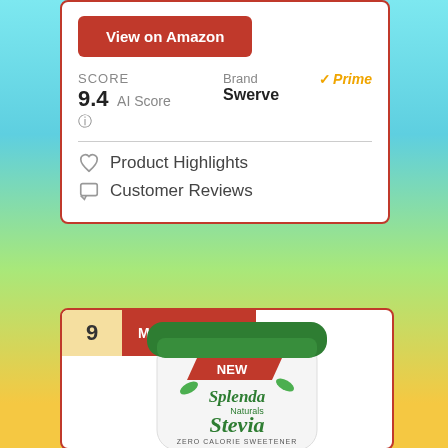View on Amazon
SCORE
9.4 AI Score
Brand
Swerve
Prime
♡ Product Highlights
□ Customer Reviews
9 MOST SAVING
[Figure (photo): Splenda Naturals Stevia Zero Calorie Sweetener jar with green lid and red NEW banner]